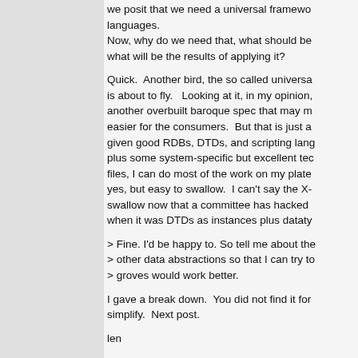we posit that we need a universal framework for languages.
Now, why do we need that, what should be, and what will be the results of applying it?
Quick. Another bird, the so called universal is about to fly. Looking at it, in my opinion, another overbuilt baroque spec that may m easier for the consumers. But that is just a given good RDBs, DTDs, and scripting lang plus some system-specific but excellent tec files, I can do most of the work on my plate yes, but easy to swallow. I can't say the X- swallow now that a committee has hacked when it was DTDs as instances plus dataty
> Fine. I'd be happy to. So tell me about the > other data abstractions so that I can try to > groves would work better.
I gave a break down. You did not find it for simplify. Next post.
len